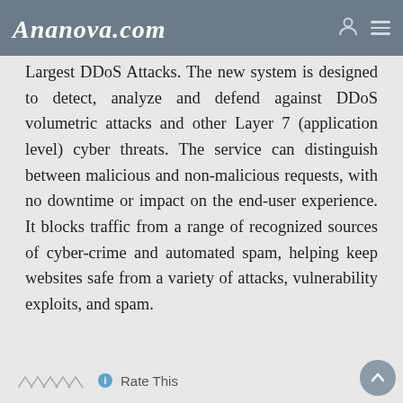Ananova.com
Largest DDoS Attacks. The new system is designed to detect, analyze and defend against DDoS volumetric attacks and other Layer 7 (application level) cyber threats. The service can distinguish between malicious and non-malicious requests, with no downtime or impact on the end-user experience. It blocks traffic from a range of recognized sources of cyber-crime and automated spam, helping keep websites safe from a variety of attacks, vulnerability exploits, and spam.